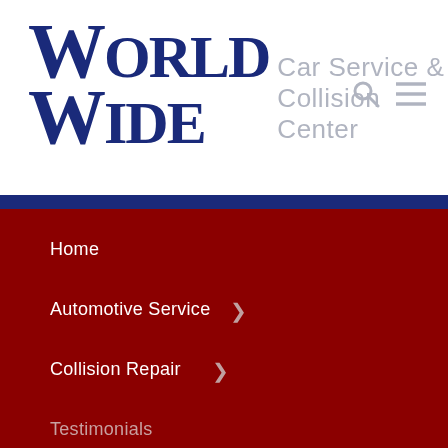World Wide Car Service & Collision Center
Home
Automotive Service
Collision Repair
Testimonials
Our Team
About Us